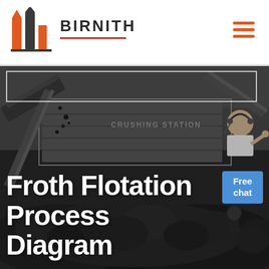[Figure (logo): Birnith company logo with orange/red building icon and brand name BIRNITH in bold dark letters with red underline]
[Figure (photo): Industrial crushing station machinery with conveyor belts and large piles of crushed black coal/rock material. Dark monochrome photograph of heavy mining equipment.]
Froth Flotation Process Diagram